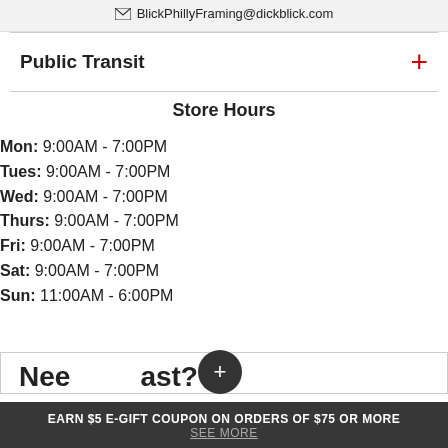BlickPhillyFraming@dickblick.com
Public Transit
Store Hours
Mon: 9:00AM - 7:00PM
Tues: 9:00AM - 7:00PM
Wed: 9:00AM - 7:00PM
Thurs: 9:00AM - 7:00PM
Fri: 9:00AM - 7:00PM
Sat: 9:00AM - 7:00PM
Sun: 11:00AM - 6:00PM
EARN $5 E-GIFT COUPON ON ORDERS OF $75 OR MORE
SEE MORE